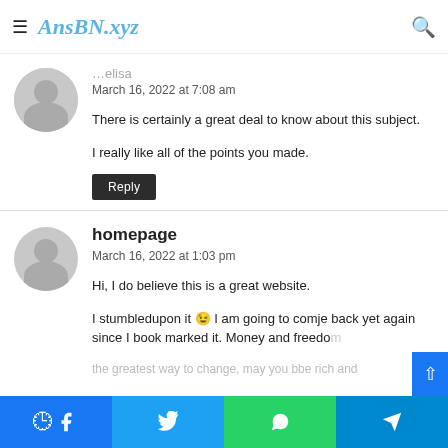AnsBN.xyz
March 16, 2022 at 7:08 am
There is certainly a great deal to know about this subject.
I really like all of the points you made.
Reply
homepage
March 16, 2022 at 1:03 pm
Hi, I do believe this is a great website.
I stumbledupon it 😉 I am going to comje back yet again since I book marked it. Money and freedom the greatest way to change, may you bbe rich and